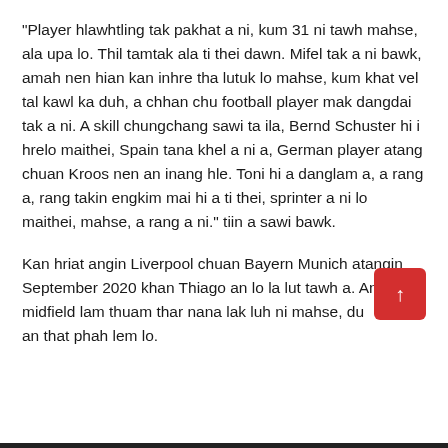“Player hlawhtling tak pakhat a ni, kum 31 ni tawh mahse, ala upa lo. Thil tamtak ala ti thei dawn. Mifel tak a ni bawk, amah nen hian kan inhre tha lutuk lo mahse, kum khat vel tal kawl ka duh, a chhan chu football player mak dangdai tak a ni. A skill chungchang sawi ta ila, Bernd Schuster hi i hrelo maithei, Spain tana khel a ni a, German player atang chuan Kroos nen an inang hle. Toni hi a danglam a, a rang a, rang takin engkim mai hi a ti thei, sprinter a ni lo maithei, mahse, a rang a ni.” tiin a sawi bawk.
Kan hriat angin Liverpool chuan Bayern Munich atangin September 2020 khan Thiago an lo la lut tawh a. An midfield lam thuam thar nana lak luh ni mahse, duh angin an that phah lem lo.